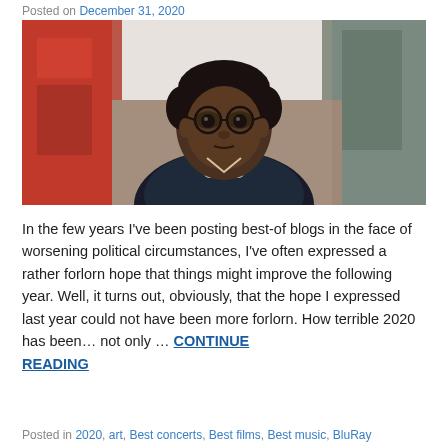Posted on December 31, 2020
[Figure (photo): Close-up photo of a young Black man wearing round glasses, looking at the camera, with a blurred indoor hallway background featuring red and green walls.]
In the few years I've been posting best-of blogs in the face of worsening political circumstances, I've often expressed a rather forlorn hope that things might improve the following year. Well, it turns out, obviously, that the hope I expressed last year could not have been more forlorn. How terrible 2020 has been… not only … CONTINUE READING
Posted in 2020, art, Best concerts, Best films, Best music, BluRay